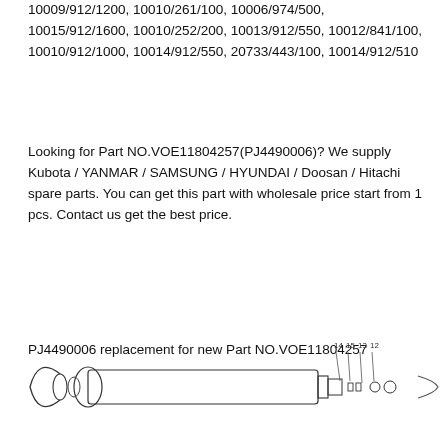10009/912/1200, 10010/261/100, 10006/974/500, 10015/912/1600, 10010/252/200, 10013/912/550, 10012/841/100, 10010/912/1000, 10014/912/550, 20733/443/100, 10014/912/510
Looking for Part NO.VOE11804257(PJ4490006)? We supply Kubota / YANMAR / SAMSUNG / HYUNDAI / Doosan / Hitachi spare parts. You can get this part with wholesale price start from 1 pcs. Contact us get the best price.
PJ4490006 replacement for new Part NO.VOE11804257
[Figure (engineering-diagram): Exploded engineering diagram of a cylindrical hydraulic component (likely a cylinder or actuator) with numbered parts 12, 13, 14, 15 indicated by leader lines, and additional round components visible at either end.]